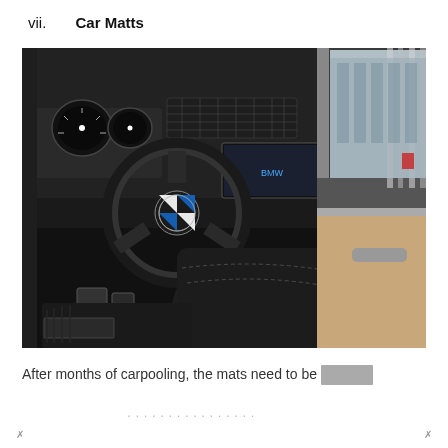vii.   Car Matts
[Figure (photo): Interior of a BMW luxury car showing the driver's seat, steering wheel with BMW logo, dashboard with multiple controls, pedals, center console, and an open passenger door revealing the door panel in beige/tan and chrome accents. Dark leather interior with floor mats visible.]
After months of carpooling, the mats need to be [redacted]
...